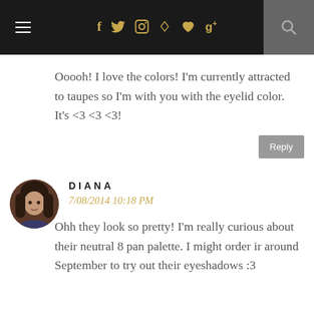Navigation bar with hamburger menu, social icons (f, twitter, instagram, pinterest, heart, g+), and search
Ooooh! I love the colors! I'm currently attracted to taupes so I'm with you with the eyelid color. It's <3 <3 <3!
Reply
DIANA
7/08/2014 10:18 PM
Ohh they look so pretty! I'm really curious about their neutral 8 pan palette. I might order ir around September to try out their eyeshadows :3